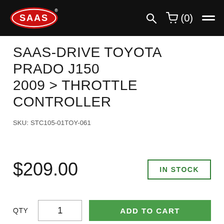SAAS header navigation with logo, search, cart (0), and menu
SAAS-DRIVE TOYOTA PRADO J150 2009 > THROTTLE CONTROLLER
SKU: STC105-01TOY-061
$209.00
IN STOCK
QTY  1  ADD TO CART